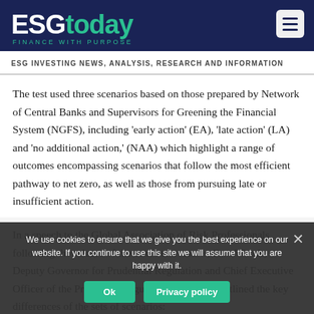ESGtoday FINANCE WITH PURPOSE
ESG INVESTING NEWS, ANALYSIS, RESEARCH AND INFORMATION
The test used three scenarios based on those prepared by Network of Central Banks and Supervisors for Greening the Financial System (NGFS), including ‘early action’ (EA), ‘late action’ (LA) and ‘no additional action,’ (NAA) which highlight a range of outcomes encompassing scenarios that follow the most efficient pathway to net zero, as well as those from pursuing late or insufficient action.
In a speech to the Global Association of Risk Professionals following the release of the stress test results, Sam Woods, Deputy Governor for Prudential Regulation and Chief Executive Officer of the Prudential Regulation Authority, outlined the key differences of the sets of scenarios:
We use cookies to ensure that we give you the best experience on our website. If you continue to use this site we will assume that you are happy with it.